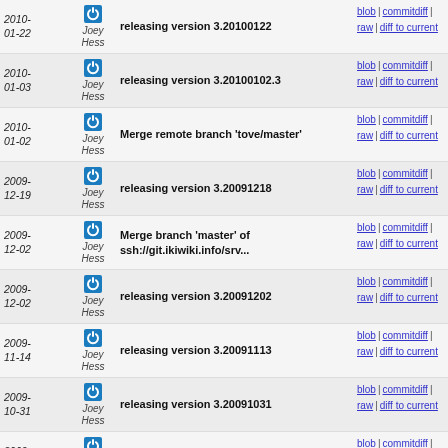| Date | Author | Message | Links |
| --- | --- | --- | --- |
| 2010-01-22 | Joey Hess | releasing version 3.20100122 | blob | commitdiff | raw | diff to current |
| 2010-01-03 | Joey Hess | releasing version 3.20100102.3 | blob | commitdiff | raw | diff to current |
| 2010-01-02 | Joey Hess | Merge remote branch 'tove/master' | blob | commitdiff | raw | diff to current |
| 2009-12-19 | Joey Hess | releasing version 3.20091218 | blob | commitdiff | raw | diff to current |
| 2009-12-02 | Joey Hess | Merge branch 'master' of ssh://git.ikiwiki.info/srv... | blob | commitdiff | raw | diff to current |
| 2009-12-02 | Joey Hess | releasing version 3.20091202 | blob | commitdiff | raw | diff to current |
| 2009-11-14 | Joey Hess | releasing version 3.20091113 | blob | commitdiff | raw | diff to current |
| 2009-10-31 | Joey Hess | releasing version 3.20091031 | blob | commitdiff | raw | diff to current |
| 2009-10-29 | Joey Hess | put back Source | blob | commitdiff | raw | diff to current |